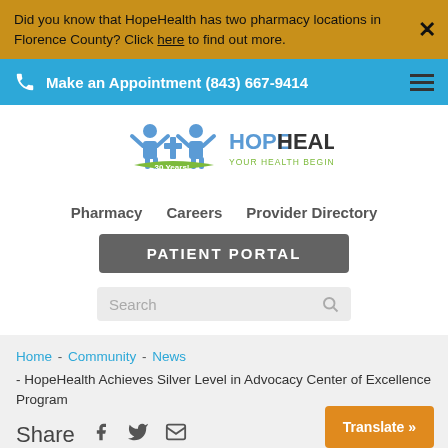Did you know that HopeHealth has two pharmacy locations in Florence County? Click here to find out more.
Make an Appointment (843) 667-9414
[Figure (logo): HopeHealth logo with '30 Years!' ribbon, blue stylized people figures, text 'HOPEHEALTH YOUR HEALTH BEGINS HERE']
Pharmacy
Careers
Provider Directory
PATIENT PORTAL
Search
Home - Community - News - HopeHealth Achieves Silver Level in Advocacy Center of Excellence Program
Share
Translate »